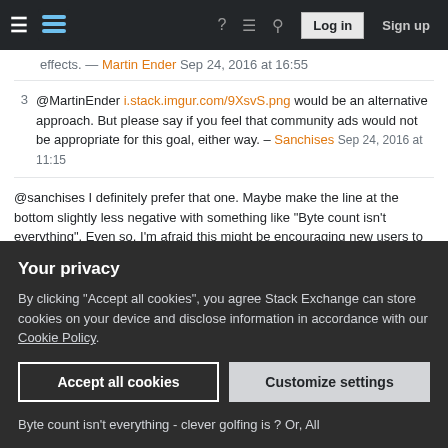Stack Exchange navigation bar with hamburger menu, logo, help, chat, search icons, Log in and Sign up buttons
effects. — Martin Ender Sep 24, 2016 at 16:55
@MartinEnder i.stack.imgur.com/9XsvS.png would be an alternative approach. But please say if you feel that community ads would not be appropriate for this goal, either way. – Sanchises Sep 24, 2016 at 11:15
@sanchises I definitely prefer that one. Maybe make the line at the bottom slightly less negative with something like "Byte count isn't everything". Even so, I'm afraid this might be encouraging new users to post answers that aren't golfed at all, because they don't like to golf but have an interesting/clever/creative/innovative solution. So yeah, I'm not really sure our intentions can be
Your privacy
By clicking "Accept all cookies", you agree Stack Exchange can store cookies on your device and disclose information in accordance with our Cookie Policy.
Accept all cookies
Customize settings
Byte count isn't everything - clever golfing is ? Or, All